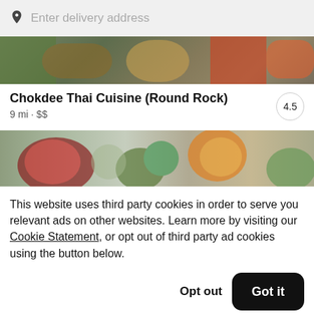Enter delivery address
[Figure (photo): Partial view of Thai food dish with colorful garnishes on dark background]
Chokdee Thai Cuisine (Round Rock)
9 mi • $$
4.5
[Figure (photo): Colorful food background with fruits including strawberries, oranges, and green vegetables on a light surface]
This website uses third party cookies in order to serve you relevant ads on other websites. Learn more by visiting our Cookie Statement, or opt out of third party ad cookies using the button below.
Opt out
Got it